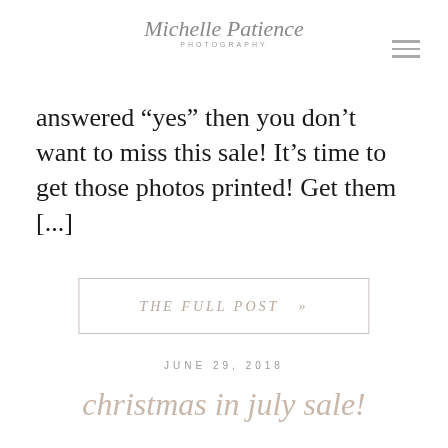Michelle Patience PHOTOGRAPHY
answered “yes” then you don’t want to miss this sale! It’s time to get those photos printed! Get them [...]
THE FULL POST  »
JUNE 29, 2018
christmas in july sale!